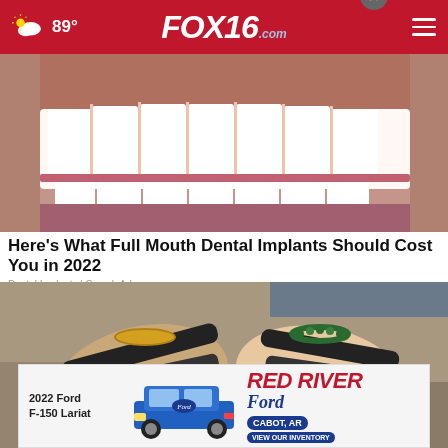FOX16.com  89°
[Figure (photo): Close-up of a person's smile showing white dental implants/teeth]
Here's What Full Mouth Dental Implants Should Cost You in 2022
Dental Implants | Search Ads
[Figure (photo): Person's feet wearing black sandals with ankle bracelet, standing on stone surface]
[Figure (photo): Advertisement for Red River Ford Cabot AR featuring a 2022 Ford F-150 Lariat]